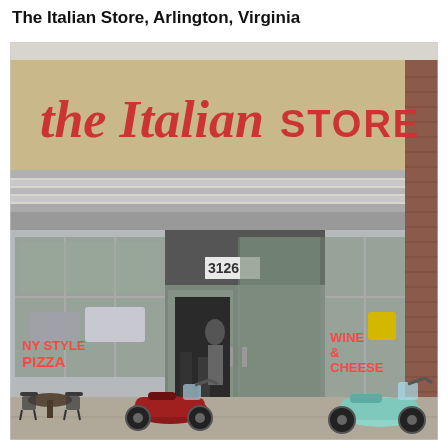The Italian Store, Arlington, Virginia
[Figure (photo): Exterior photograph of The Italian Store in Arlington, Virginia. The storefront shows a tan/beige fascia with a large red script and bold sign reading 'The Italian Store STORE'. Below is a modern glass and aluminum storefront with the address number 3126 above the entrance doors. Window signs visible include 'NY STYLE PIZZA' on the left and 'WINE & CHEESE' on the right in neon letters. Two vintage scooters (one dark red/maroon, one mint green) are parked in front. Outdoor cafe tables and chairs are visible on the left side. A parking lot with cars is seen through the windows.]